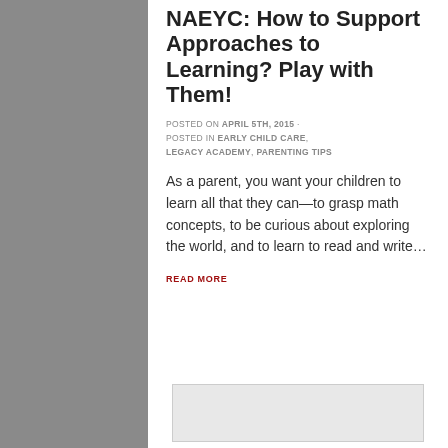NAEYC: How to Support Approaches to Learning? Play with Them!
POSTED ON APRIL 5TH, 2015 · POSTED IN EARLY CHILD CARE, LEGACY ACADEMY, PARENTING TIPS
As a parent, you want your children to learn all that they can—to grasp math concepts, to be curious about exploring the world, and to learn to read and write…
READ MORE
[Figure (other): Image placeholder box at the bottom of the page]